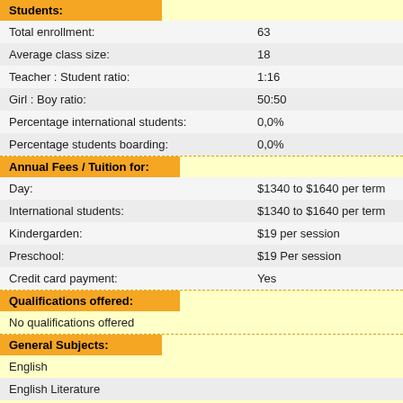Students:
| Field | Value |
| --- | --- |
| Total enrollment: | 63 |
| Average class size: | 18 |
| Teacher : Student ratio: | 1:16 |
| Girl : Boy ratio: | 50:50 |
| Percentage international students: | 0,0% |
| Percentage students boarding: | 0,0% |
Annual Fees / Tuition for:
| Field | Value |
| --- | --- |
| Day: | $1340 to $1640 per term |
| International students: | $1340 to $1640 per term |
| Kindergarden: | $19 per session |
| Preschool: | $19 Per session |
| Credit card payment: | Yes |
Qualifications offered:
No qualifications offered
General Subjects:
English
English Literature
ESL
Geography
Health & Physical Education
Hebrew